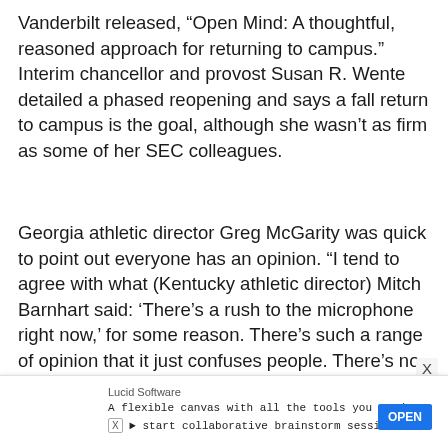Vanderbilt released, “Open Mind: A thoughtful, reasoned approach for returning to campus.” Interim chancellor and provost Susan R. Wente detailed a phased reopening and says a fall return to campus is the goal, although she wasn’t as firm as some of her SEC colleagues.
Georgia athletic director Greg McGarity was quick to point out everyone has an opinion. “I tend to agree with what (Kentucky athletic director) Mitch Barnhart said: ‘There’s a rush to the microphone right now,’ for some reason. There’s such a range of opinion that it just confuses people. There’s no consistency, not just in the SEC, but in the country.”
[Figure (screenshot): Advertisement banner at bottom: Lucid Software ad with text 'A flexible canvas with all the tools you need' and 'start collaborative brainstorm sessions.' with OPEN button]